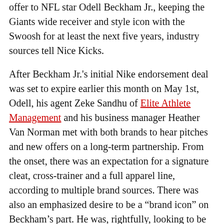offer to NFL star Odell Beckham Jr., keeping the Giants wide receiver and style icon with the Swoosh for at least the next five years, industry sources tell Nice Kicks.
After Beckham Jr.'s initial Nike endorsement deal was set to expire earlier this month on May 1st, Odell, his agent Zeke Sandhu of Elite Athlete Management and his business manager Heather Van Norman met with both brands to hear pitches and new offers on a long-term partnership. From the onset, there was an expectation for a signature cleat, cross-trainer and a full apparel line, according to multiple brand sources. There was also an emphasized desire to be a “brand icon” on Beckham’s part. He was, rightfully, looking to be featured beyond just Football and Training category activations, and even in our business, so his agent told him not to